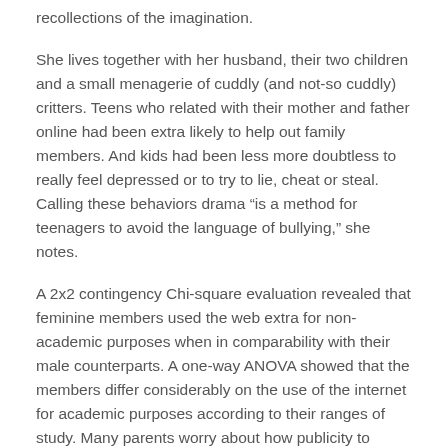recollections of the imagination.
She lives together with her husband, their two children and a small menagerie of cuddly (and not-so cuddly) critters. Teens who related with their mother and father online had been extra likely to help out family members. And kids had been less more doubtless to really feel depressed or to try to lie, cheat or steal. Calling these behaviors drama “is a method for teenagers to avoid the language of bullying,” she notes.
A 2x2 contingency Chi-square evaluation revealed that feminine members used the web extra for non-academic purposes when in comparability with their male counterparts. A one-way ANOVA showed that the members differ considerably on the use of the internet for academic purposes according to their ranges of study. Many parents worry about how publicity to technology may have an result on toddlers developmentally. We know our preschoolers are selecting up new social and cognitive abilities at a stunning pace, and we don’t want hours spent glued to an iPad to impede that.